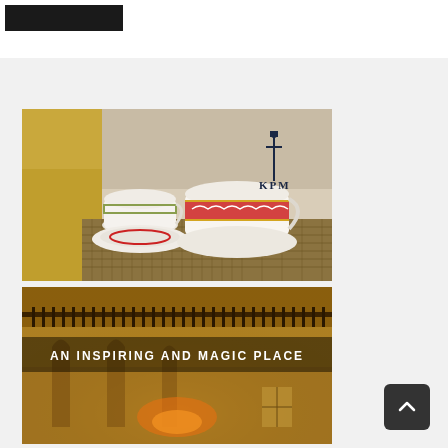Advertisements
[Figure (photo): KPM porcelain advertisement showing decorative teacups and saucers with red and white patterns on a woven surface with sandy beach background. KPM logo (scepter symbol and text) visible in upper right.]
[Figure (photo): Hotel or venue advertisement showing a grand interior with fireplace, arched ceilings and warm lighting. Text overlay reads: AN INSPIRING AND MAGIC PLACE]